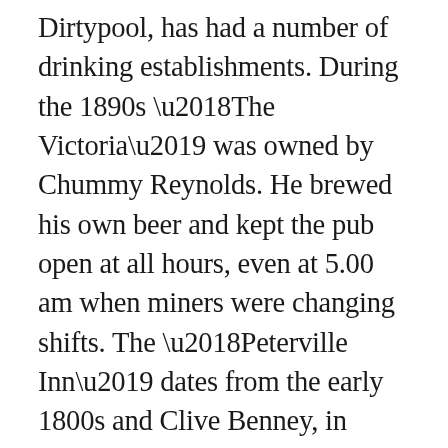Dirtypool, has had a number of drinking establishments. During the 1890s 'The Victoria' was owned by Chummy Reynolds. He brewed his own beer and kept the pub open at all hours, even at 5.00 am when miners were changing shifts. The 'Peterville Inn' dates from the early 1800s and Clive Benney, in Down to Dirty Pool wrote that it was once the rendezvous for old timers at a period when, as they put it, “beer was beer and you could stand your spoon up in it”. Some of these old boys were in the bar for most of the day and night drinking a gallon or even two. There was so much